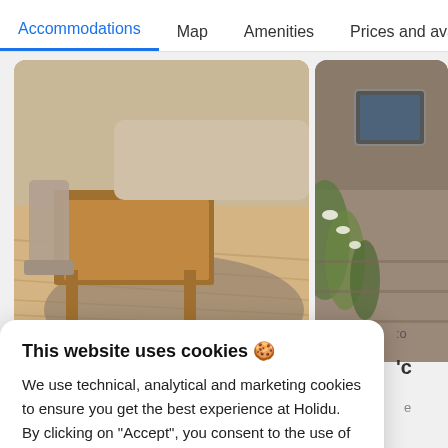Accommodations  Map  Amenities  Prices and ava
[Figure (photo): Interior photo showing a wooden dining table with chairs on a light wood floor, with a sofa and rug in the background]
[Figure (photo): Exterior photo showing a stone building with climbing plants and a skylight window on the roof]
This website uses cookies 🍪
We use technical, analytical and marketing cookies to ensure you get the best experience at Holidu. By clicking on "Accept", you consent to the use of cookies as out-lined in our cookie policy. You can customise your preferences.
Accept